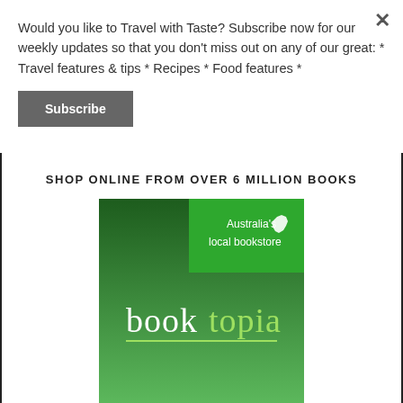Would you like to Travel with Taste? Subscribe now for our weekly updates so that you don't miss out on any of our great: * Travel features & tips * Recipes * Food features *
Subscribe
SHOP ONLINE FROM OVER 6 MILLION BOOKS
[Figure (logo): Booktopia logo — green background with 'Australia's local bookstore' text and Australian map silhouette at top, 'booktopia' wordmark in white/green at center with yellow-green underline.]